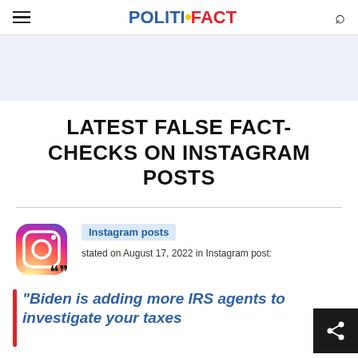POLITIFACT
[Figure (other): Light blue/grey banner advertisement area]
LATEST FALSE FACT-CHECKS ON INSTAGRAM POSTS
[Figure (logo): Instagram logo icon]
Instagram posts
stated on August 17, 2022 in Instagram post:
"Biden is adding more IRS agents to investigate your taxes